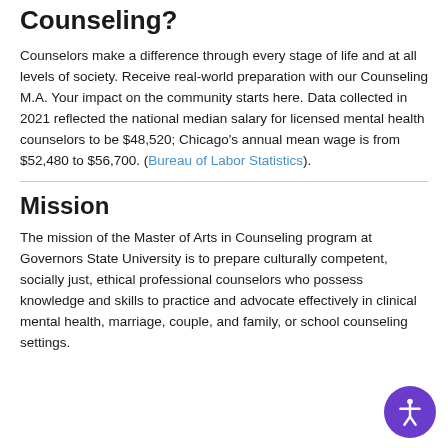Counseling?
Counselors make a difference through every stage of life and at all levels of society. Receive real-world preparation with our Counseling M.A. Your impact on the community starts here. Data collected in 2021 reflected the national median salary for licensed mental health counselors to be $48,520; Chicago's annual mean wage is from $52,480 to $56,700. (Bureau of Labor Statistics).
Mission
The mission of the Master of Arts in Counseling program at Governors State University is to prepare culturally competent, socially just, ethical professional counselors who possess knowledge and skills to practice and advocate effectively in clinical mental health, marriage, couple, and family, or school counseling settings.